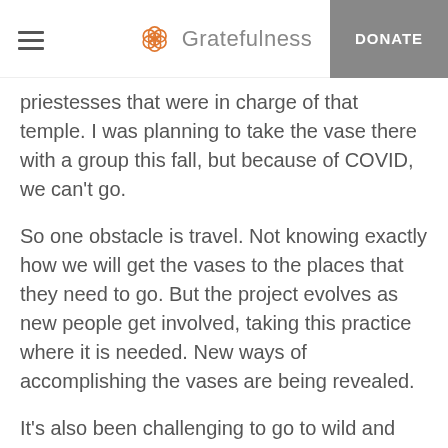Gratefulness — DONATE
priestesses that were in charge of that temple. I was planning to take the vase there with a group this fall, but because of COVID, we can't go.
So one obstacle is travel. Not knowing exactly how we will get the vases to the places that they need to go. But the project evolves as new people get involved, taking this practice where it is needed. New ways of accomplishing the vases are being revealed.
It's also been challenging to go to wild and remote places without prior experience, hurling myself into the world with this sacred